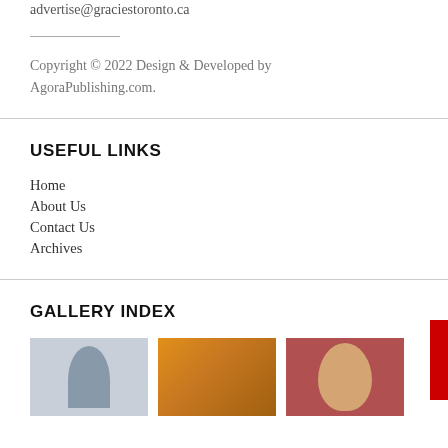advertise@graciestoronto.ca
Copyright © 2022 Design & Developed by AgoraPublishing.com.
USEFUL LINKS
Home
About Us
Contact Us
Archives
GALLERY INDEX
[Figure (photo): Three thumbnail photos in a gallery row: first shows a person, second shows a crowd scene, third shows a person's face.]